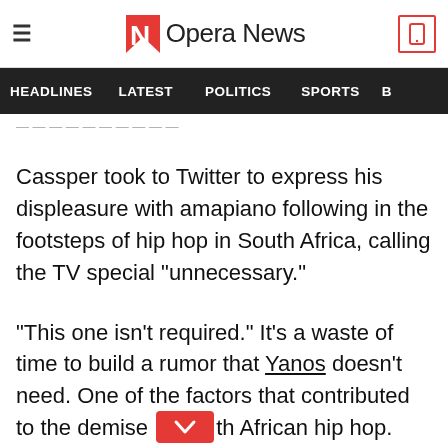Opera News
HEADLINES  LATEST  POLITICS  SPORTS  B
Cassper took to Twitter to express his displeasure with amapiano following in the footsteps of hip hop in South Africa, calling the TV special "unnecessary."
"This one isn't required." It's a waste of time to build a rumor that Yanos doesn't need. One of the factors that contributed to the demise [of] South African hip hop.